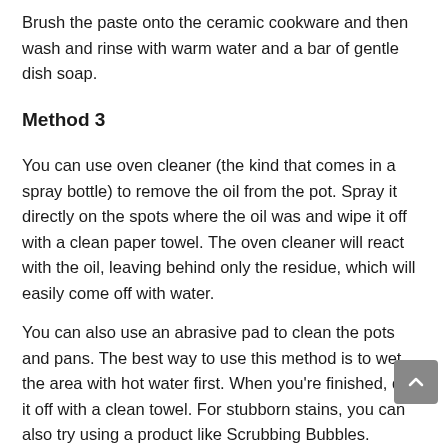Brush the paste onto the ceramic cookware and then wash and rinse with warm water and a bar of gentle dish soap.
Method 3
You can use oven cleaner (the kind that comes in a spray bottle) to remove the oil from the pot. Spray it directly on the spots where the oil was and wipe it off with a clean paper towel. The oven cleaner will react with the oil, leaving behind only the residue, which will easily come off with water.
You can also use an abrasive pad to clean the pots and pans. The best way to use this method is to wet the area with hot water first. When you're finished, dry it off with a clean towel. For stubborn stains, you can also try using a product like Scrubbing Bubbles.